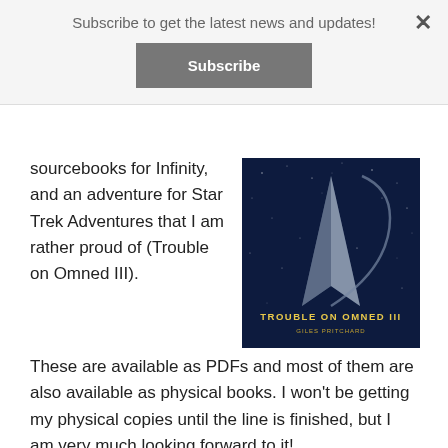Subscribe to get the latest news and updates!
Subscribe
sourcebooks for Infinity, and an adventure for Star Trek Adventures that I am rather proud of (Trouble on Omned III). These are available as PDFs and most of them are also available as physical books. I won't be getting my physical copies until the line is finished, but I am very much looking forward to it!
[Figure (photo): Book cover: Trouble on Omned III by Giles Pritchard, showing the Star Trek Starfleet insignia on a dark blue starfield background.]
2020 will start busier than most years, I have a piece for Infinity to write, and several more waiting for outline approval. But – all the books for the Infinity kickstarter